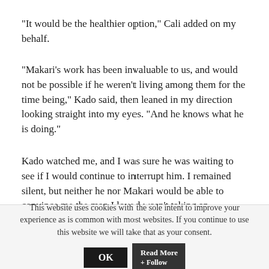“It would be the healthier option,” Cali added on my behalf.
“Makari’s work has been invaluable to us, and would not be possible if he weren’t living among them for the time being,” Kado said, then leaned in my direction looking straight into my eyes. “And he knows what he is doing.”
Kado watched me, and I was sure he was waiting to see if I would continue to interrupt him. I remained silent, but neither he nor Makari would be able to convince me the man I loved wasn’t taking an unnecessary risk. They could
This website uses cookies with the sole intent to improve your experience as is common with most websites. If you continue to use this website we will take that as your consent.